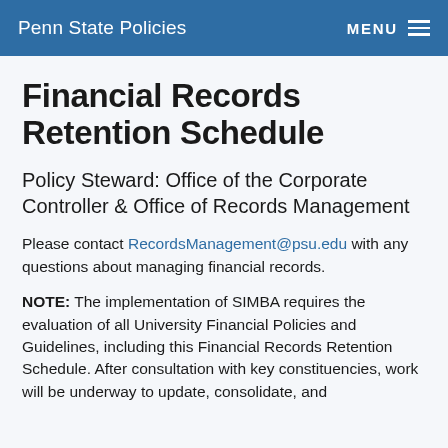Penn State Policies  MENU
Financial Records Retention Schedule
Policy Steward: Office of the Corporate Controller & Office of Records Management
Please contact RecordsManagement@psu.edu with any questions about managing financial records.
NOTE: The implementation of SIMBA requires the evaluation of all University Financial Policies and Guidelines, including this Financial Records Retention Schedule.  After consultation with key constituencies, work will be underway to update, consolidate, and